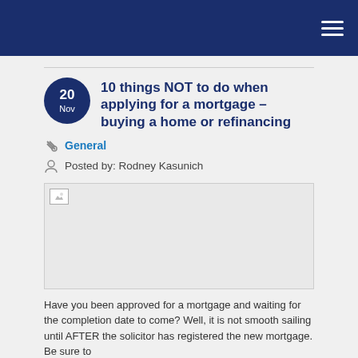Navigation bar with hamburger menu
10 things NOT to do when applying for a mortgage – buying a home or refinancing
General
Posted by: Rodney Kasunich
[Figure (photo): Broken image placeholder for article header image]
Have you been approved for a mortgage and waiting for the completion date to come? Well, it is not smooth sailing until AFTER the solicitor has registered the new mortgage. Be sure to